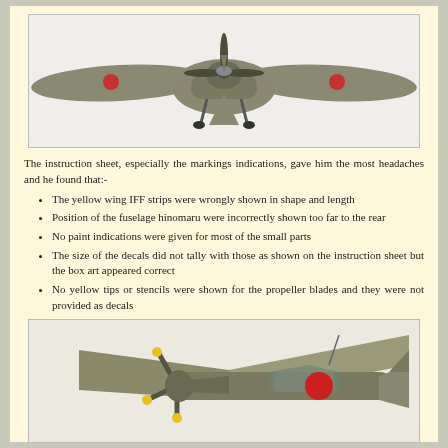[Figure (photo): Front view of a WWII Japanese model aircraft (fighter plane) showing wings, propeller, and landing gear, photographed on white background]
The instruction sheet, especially the markings indications, gave him the most headaches and he found that:-
The yellow wing IFF strips were wrongly shown in shape and length
Position of the fuselage hinomaru were incorrectly shown too far to the rear
No paint indications were given for most of the small parts
The size of the decals did not tally with those as shown on the instruction sheet but the box art appeared correct
No yellow tips or stencils were shown for the propeller blades and they were not provided as decals
[Figure (photo): Side/angled view of a WWII Japanese model aircraft showing propeller with yellow tips, green fuselage with red hinomaru (rising sun markings), and cockpit]